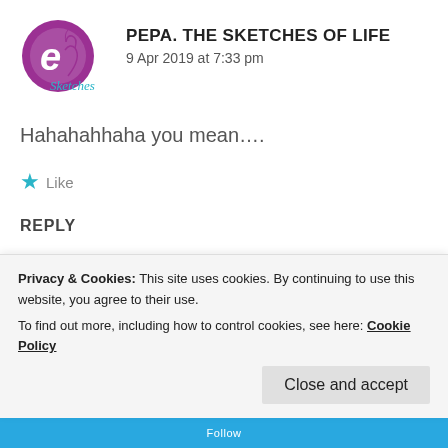PEPA. THE SKETCHES OF LIFE
9 Apr 2019 at 7:33 pm
Hahahahhaha you mean....
★ Like
REPLY
ZEALOUS HOMO SAPIENS
Privacy & Cookies: This site uses cookies. By continuing to use this website, you agree to their use.
To find out more, including how to control cookies, see here: Cookie Policy
Close and accept